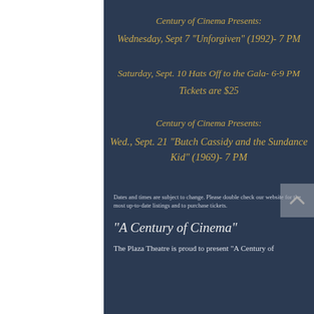Century of Cinema Presents:
Wednesday, Sept 7 "Unforgiven" (1992)- 7 PM
Saturday, Sept. 10 Hats Off to the Gala- 6-9 PM
Tickets are $25
Century of Cinema Presents:
Wed., Sept. 21 "Butch Cassidy and the Sundance Kid" (1969)- 7 PM
Dates and times are subject to change. Please double check our website for the most up-to-date listings and to purchase tickets.
"A Century of Cinema"
The Plaza Theatre is proud to present "A Century of